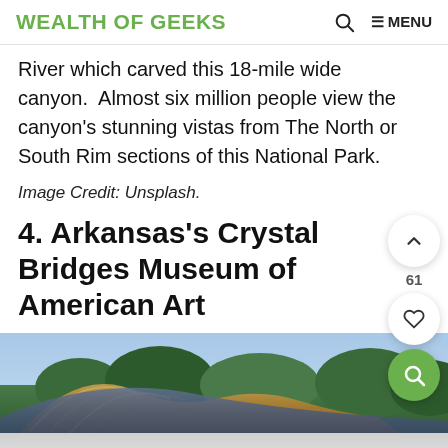WEALTH OF GEEKS
River which carved this 18-mile wide canyon.  Almost six million people view the canyon’s stunning vistas from The North or South Rim sections of this National Park.
Image Credit: Unsplash.
4. Arkansas’s Crystal Bridges Museum of American Art
[Figure (photo): Exterior photograph of Crystal Bridges Museum of American Art showing a curved/arched roof structure with trees in the background under a blue sky, with a light-colored ground area in the foreground.]